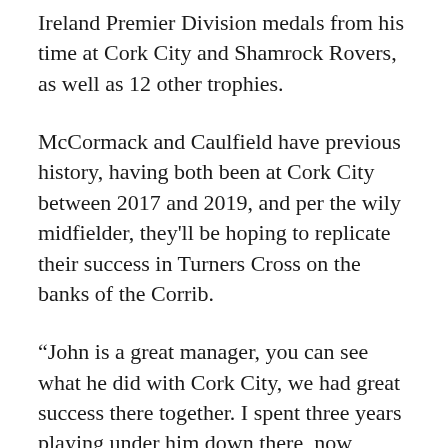Ireland Premier Division medals from his time at Cork City and Shamrock Rovers, as well as 12 other trophies.
McCormack and Caulfield have previous history, having both been at Cork City between 2017 and 2019, and per the wily midfielder, they'll be hoping to replicate their success in Turners Cross on the banks of the Corrib.
“John is a great manager, you can see what he did with Cork City, we had great success there together. I spent three years playing under him down there, now John’s come to Galway United, and hopefully we can replicate that success here.”
McCormack is no stranger to the rigours of Irish football, although this will be his first stint in the